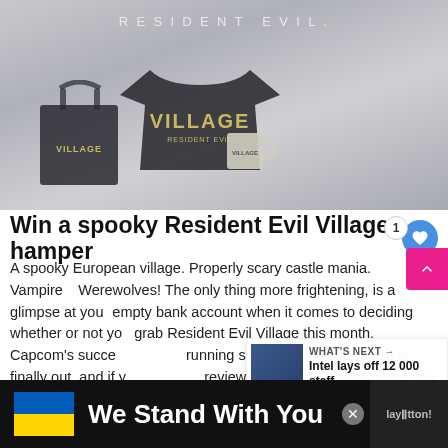[Figure (photo): Resident Evil Village merchandise promotional image showing t-shirt, bag, and mug with 'VILLAGE' branding against a grey foggy background with 'RESIDENT EVIL.' text at top]
Win a spooky Resident Evil Village hamper
A spooky European village. Properly scary castle mania. Vampires! Werewolves! The only thing more frightening, is a glimpse at your empty bank account when it comes to deciding whether or not you grab Resident Evil Village this month. Capcom's successful long-running survival-horror franchise is finally out, and if you read our review then you know the game is a winner on multiple levels.
[Figure (infographic): WHAT'S NEXT overlay with thumbnail of building: 'Intel lays off 12 000 staff ...']
We Stand With You
[Figure (illustration): Ukrainian flag colors - blue and yellow advertisement bar reading 'We Stand With You']